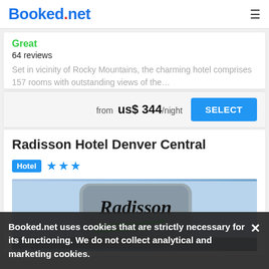Booked.net
Great
64 reviews
Set in vicinity of Rocky Mountains, the charming hotel comprises 157 rooms with outstanding views of the...
from us$ 344/night
Radisson Hotel Denver Central
Hotel ★★★
[Figure (photo): Radisson hotel sign with green swoosh logo against a blue sky background]
Booked.net uses cookies that are strictly necessary for its functioning. We do not collect analytical and marketing cookies.